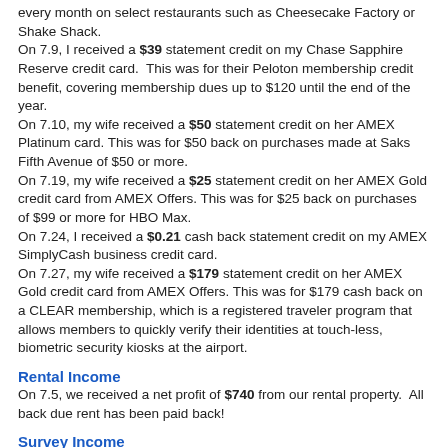every month on select restaurants such as Cheesecake Factory or Shake Shack.
On 7.9, I received a $39 statement credit on my Chase Sapphire Reserve credit card.  This was for their Peloton membership credit benefit, covering membership dues up to $120 until the end of the year.
On 7.10, my wife received a $50 statement credit on her AMEX Platinum card. This was for $50 back on purchases made at Saks Fifth Avenue of $50 or more.
On 7.19, my wife received a $25 statement credit on her AMEX Gold credit card from AMEX Offers. This was for $25 back on purchases of $99 or more for HBO Max.
On 7.24, I received a $0.21 cash back statement credit on my AMEX SimplyCash business credit card.
On 7.27, my wife received a $179 statement credit on her AMEX Gold credit card from AMEX Offers. This was for $179 cash back on a CLEAR membership, which is a registered traveler program that allows members to quickly verify their identities at touch-less, biometric security kiosks at the airport.
Rental Income
On 7.5, we received a net profit of $740 from our rental property.  All back due rent has been paid back!
Survey Income